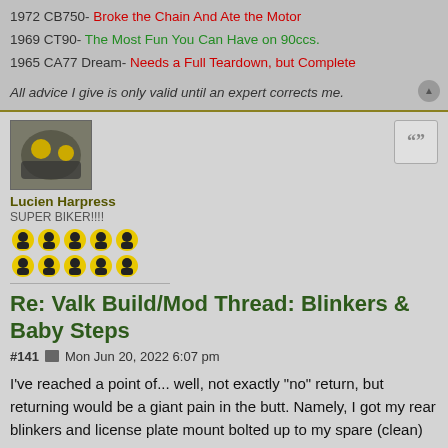1972 CB750- Broke the Chain And Ate the Motor
1969 CT90- The Most Fun You Can Have on 90ccs.
1965 CA77 Dream- Needs a Full Teardown, but Complete
All advice I give is only valid until an expert corrects me.
[Figure (photo): Avatar photo of motorcycle]
Lucien Harpress
SUPER BIKER!!!!
Re: Valk Build/Mod Thread: Blinkers & Baby Steps
#141  Mon Jun 20, 2022 6:07 pm
I've reached a point of... well, not exactly "no" return, but returning would be a giant pain in the butt. Namely, I got my rear blinkers and license plate mount bolted up to my spare (clean) fender, but to do so I had to cannibalize parts from my stock blinkers.
[Figure (photo): Bottom image strip showing partial photos]